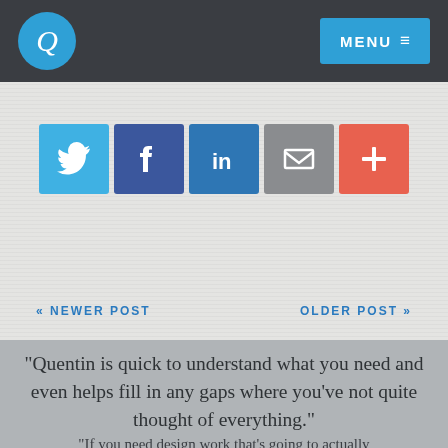Q | MENU
[Figure (infographic): Social share buttons: Twitter (blue bird), Facebook (f), LinkedIn (in), Email (envelope), Plus (+)]
« NEWER POST
OLDER POST »
"Quentin is quick to understand what you need and even helps fill in any gaps where you've not quite thought of everything."
"If you need design work that's going to actually